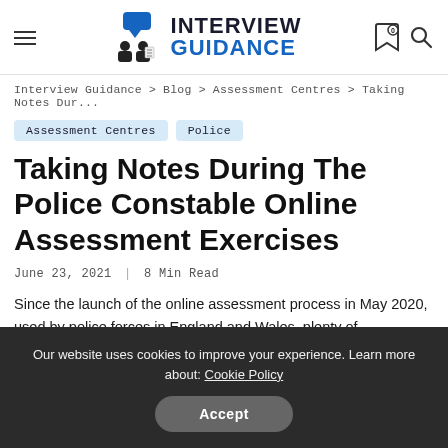Interview Guidance — site header with hamburger menu, logo, bookmark and search icons
Interview Guidance > Blog > Assessment Centres > Taking Notes Dur...
Assessment Centres
Police
Taking Notes During The Police Constable Online Assessment Exercises
June 23, 2021 | 8 Min Read
Since the launch of the online assessment process in May 2020, used by police forces in England and Wales, plenty of
Our website uses cookies to improve your experience. Learn more about: Cookie Policy
Accept